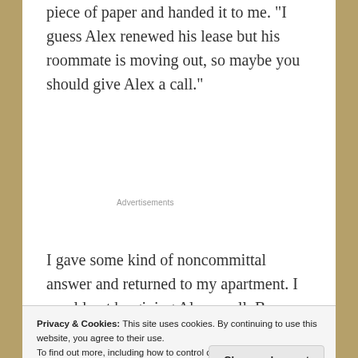piece of paper and handed it to me. “I guess Alex renewed his lease but his roommate is moving out, so maybe you should give Alex a call.”
Advertisements
I gave some kind of noncommittal answer and returned to my apartment. I would not be giving Alex a call. Because Jeromeville was a
Privacy & Cookies: This site uses cookies. By continuing to use this website, you agree to their use.
To find out more, including how to control cookies, see here: Cookie Policy
Close and accept